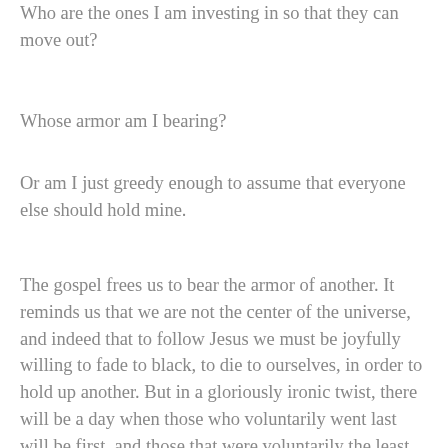Who are the ones I am investing in so that they can move out?
Whose armor am I bearing?
Or am I just greedy enough to assume that everyone else should hold mine.
The gospel frees us to bear the armor of another. It reminds us that we are not the center of the universe, and indeed that to follow Jesus we must be joyfully willing to fade to black, to die to ourselves, in order to hold up another. But in a gloriously ironic twist, there will be a day when those who voluntarily went last will be first, and those that were voluntarily the least will be called great. And in that day, all the nameless armor bearers will, along with everyone